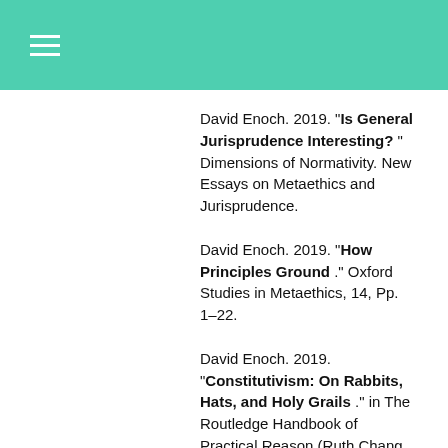David Enoch. 2019. "Is General Jurisprudence Interesting? " Dimensions of Normativity. New Essays on Metaethics and Jurisprudence.
David Enoch. 2019. "How Principles Ground ." Oxford Studies in Metaethics, 14, Pp. 1–22.
David Enoch. 2019. "Constitutivism: On Rabbits, Hats, and Holy Grails ." in The Routledge Handbook of Practical Reason (Ruth Chang and Kurt Sylvan eds.) (Routledge: 2020).
David Enoch. 2019. "Playing the Hand You're Dealt: How Moral Luck Is Different from